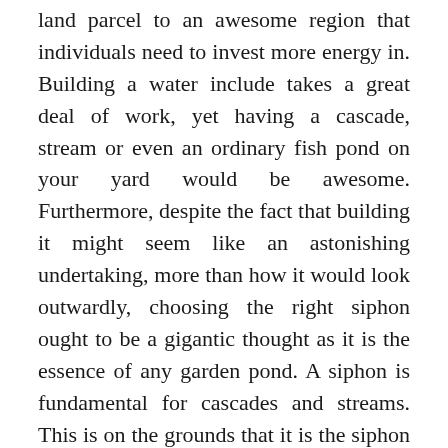land parcel to an awesome region that individuals need to invest more energy in. Building a water include takes a great deal of work, yet having a cascade, stream or even an ordinary fish pond on your yard would be awesome. Furthermore, despite the fact that building it might seem like an astonishing undertaking, more than how it would look outwardly, choosing the right siphon ought to be a gigantic thought as it is the essence of any garden pond. A siphon is fundamental for cascades and streams. This is on the grounds that it is the siphon that permits legitimate oxygen dissemination in a water highlight so the fish and submerged plants can keep on flourishing.